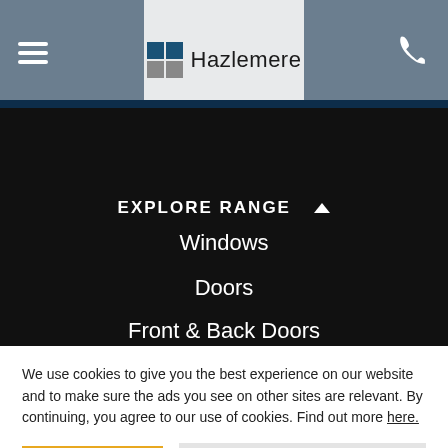Hazlemere
EXPLORE RANGE
Windows
Doors
Front & Back Doors
We use cookies to give you the best experience on our website and to make sure the ads you see on other sites are relevant. By continuing, you agree to our use of cookies. Find out more here.
ACCEPT
Chat now